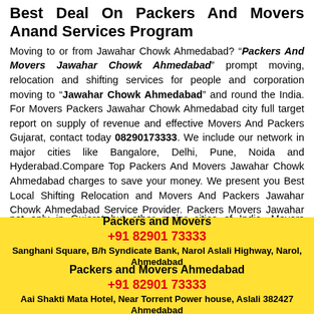Best Deal On Packers And Movers Anand Services Program
Moving to or from Jawahar Chowk Ahmedabad? "Packers And Movers Jawahar Chowk Ahmedabad" prompt moving, relocation and shifting services for people and corporation moving to "Jawahar Chowk Ahmedabad" and round the India. For Movers Packers Jawahar Chowk Ahmedabad city full target report on supply of revenue and effective Movers And Packers Gujarat, contact today 08290173333. We include our network in major cities like Bangalore, Delhi, Pune, Noida and Hyderabad.Compare Top Packers And Movers Jawahar Chowk Ahmedabad charges to save your money. We present you Best Local Shifting Relocation and Movers And Packers Jawahar Chowk Ahmedabad Service Provider. Packers Movers Jawahar Chowk Ahmedabad are one of the leading packers and movers. Movers And Packers Gujarat are offering our services not only in Gujarat but other major cities of India. Movers engaged in packing, loading, unloading, transportation/moving, car transportation, warehousing, loading And Moving services in India. Website appears on Shifting Moving more often and in more wide-ranging Services. Optimize your ADS for Movers and the feed so you'll connect and potential Visitors across
[Figure (infographic): Yellow banner: Packers and Movers, +91 82901 73333, Sanghani Square, B/h Syndicate Bank, Narol Aslali Highway, Narol, Ahmedabad]
[Figure (infographic): Yellow banner: Packers and Movers Ahmedabad, +91 82901 73333, Aai Shakti Mata Hotel, Near Torrent Power house, Aslali 382427, Ahmedabad]